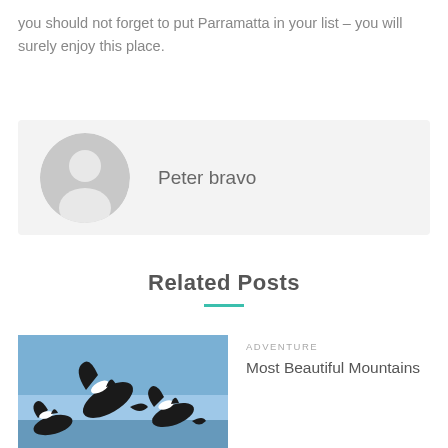you should not forget to put Parramatta in your list – you will surely enjoy this place.
[Figure (illustration): Gray placeholder avatar circle with anonymous person silhouette, next to author name 'Peter bravo']
Related Posts
ADVENTURE
Most Beautiful Mountains